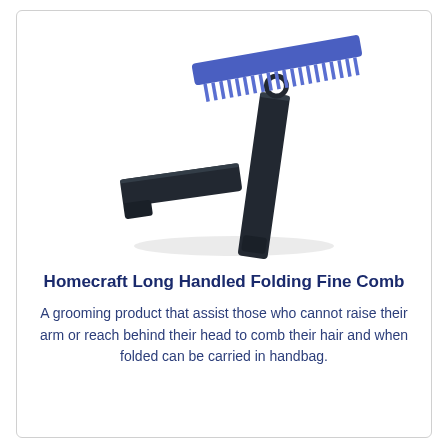[Figure (photo): A folding comb product shown partially open and folded closed. The comb head is blue/purple with fine teeth, and two black elongated handle pieces are shown — one partially open and one folded closed — on a white background.]
Homecraft Long Handled Folding Fine Comb
A grooming product that assist those who cannot raise their arm or reach behind their head to comb their hair and when folded can be carried in handbag.